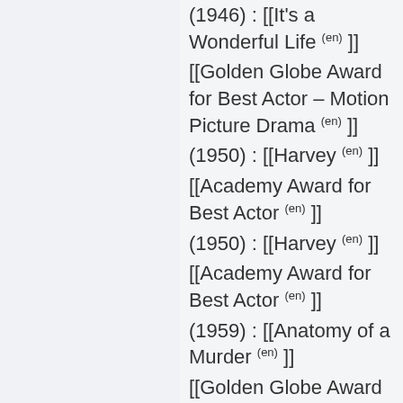(1946) : [[It's a Wonderful Life (en) ]]
[[Golden Globe Award for Best Actor – Motion Picture Drama (en) ]]
(1950) : [[Harvey (en) ]]
[[Academy Award for Best Actor (en) ]]
(1950) : [[Harvey (en) ]]
[[Academy Award for Best Actor (en) ]]
(1959) : [[Anatomy of a Murder (en) ]]
[[Golden Globe Award for Best Actor – Motion Picture Musical or Comedy (en) ]]
(1962) : [[Mr. Hobbs ...